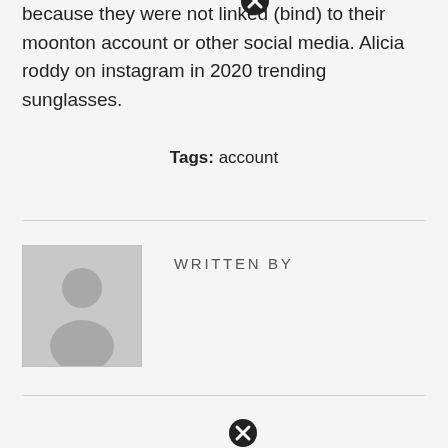because they were not linked (bind) to their moonton account or other social media. Alicia roddy on instagram in 2020 trending sunglasses.
Tags: account
[Figure (illustration): Author avatar placeholder — gray silhouette of a person on gray background]
WRITTEN BY